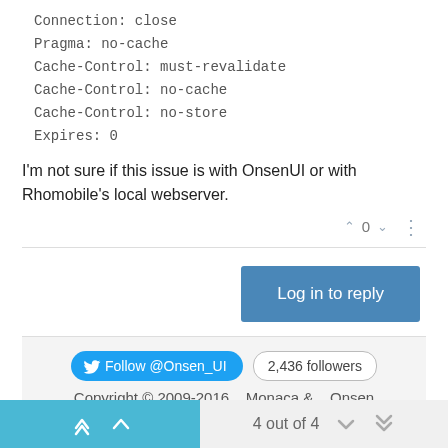Connection: close
Pragma: no-cache
Cache-Control: must-revalidate
Cache-Control: no-cache
Cache-Control: no-store
Expires: 0
I'm not sure if this issue is with OnsenUI or with Rhomobile's local webserver.
Log in to reply
Follow @Onsen_UI  2,436 followers
Copyright © 2009-2016   Monaca &   Onsen UI Team.
4 out of 4